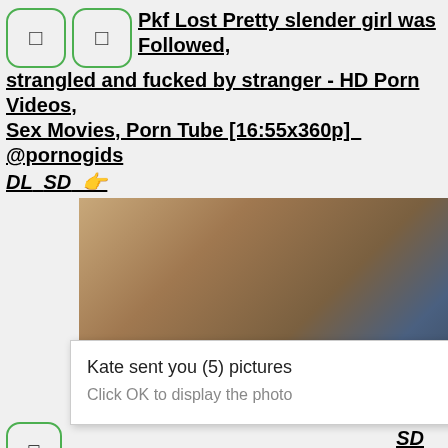Pkf Lost Pretty slender girl was Followed, strangled and fucked by stranger - HD Porn Videos, Sex Movies, Porn Tube [16:55x360p]  @pornogids DL SD 👉
[Figure (screenshot): Video thumbnail showing hands on denim jeans with a zipper]
[Figure (screenshot): Popup dialog: 'Kate sent you (5) pictures' with 'Click OK to display the photo' and a close X button]